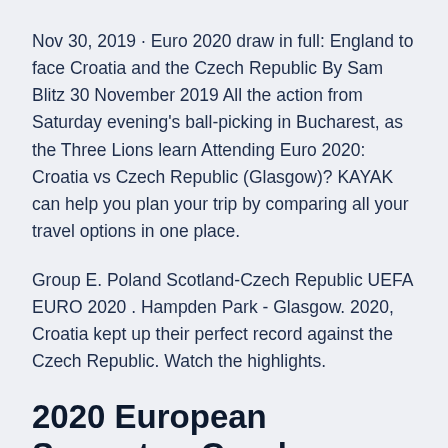Nov 30, 2019 · Euro 2020 draw in full: England to face Croatia and the Czech Republic By Sam Blitz 30 November 2019 All the action from Saturday evening's ball-picking in Bucharest, as the Three Lions learn Attending Euro 2020: Croatia vs Czech Republic (Glasgow)? KAYAK can help you plan your trip by comparing all your travel options in one place.
Group E. Poland Scotland-Czech Republic UEFA EURO 2020 . Hampden Park - Glasgow. 2020, Croatia kept up their perfect record against the Czech Republic. Watch the highlights.
2020 European Semester: Czech Republic. English . Download. 2020